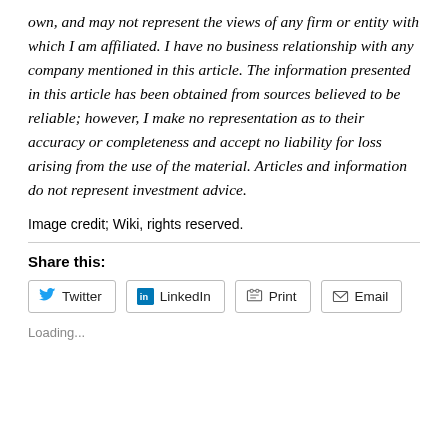own, and may not represent the views of any firm or entity with which I am affiliated. I have no business relationship with any company mentioned in this article. The information presented in this article has been obtained from sources believed to be reliable; however, I make no representation as to their accuracy or completeness and accept no liability for loss arising from the use of the material. Articles and information do not represent investment advice.
Image credit; Wiki, rights reserved.
Share this:
Twitter LinkedIn Print Email
Loading...